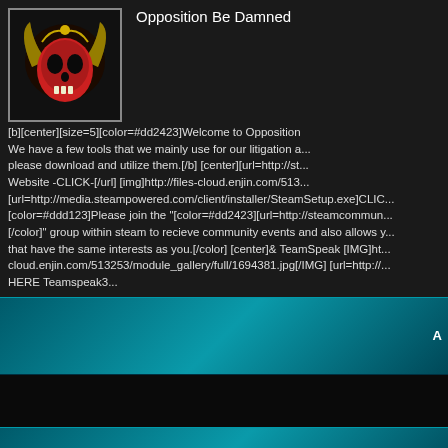Opposition Be Damned
[b][center][size=5][color=#dd2423]Welcome to Opposition Be Damned. We have a few tools that we mainly use for our litigation a... please download and utilize them.[/b] [center][url=http://st... Website -CLICK-[/url] [img]http://files-cloud.enjin.com/513... [url=http://media.steampowered.com/client/installer/SteamSetup.exe]CLIC... [color=#ddd123]Please join the "[color=#dd2423][url=http://steamcommun... [/color]" group within steam to recieve community events and also allows y... that have the same interests as you.[/color] [center]& TeamSpeak [IMG]ht... cloud.enjin.com/513253/module_gallery/full/1694381.jpg[/IMG] [url=http://... HERE Teamspeak3...
All times are GMT -5. The time now is 12:54 AM.
Content © 2002-2013, PlanetSide-Universe.com, All rights reserved. PlanetSide and the SOE logo are registered trademarks of Sony Online Entertainment Inc. © 2004 Sony Online Entertainment Inc. All rights reserved. All other trademarks or tradenames are properties of their respective owners. Powered by vBulletin Copyright ©2000 - 2022, Jelsoft Enterprises Ltd.